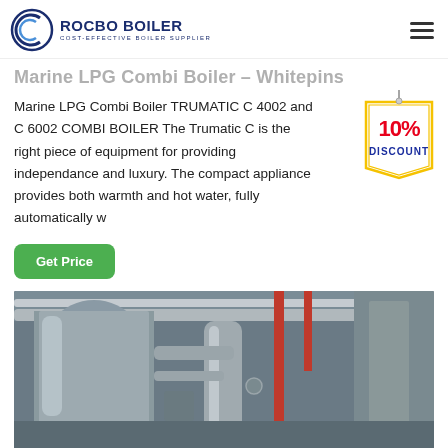ROCBO BOILER - COST-EFFECTIVE BOILER SUPPLIER
Marine LPG Combi Boiler – Whitepins
Marine LPG Combi Boiler TRUMATIC C 4002 and C 6002 COMBI BOILER The Trumatic C is the right piece of equipment for providing independance and luxury. The compact appliance provides both warmth and hot water, fully automatically w
[Figure (illustration): 10% DISCOUNT badge/tag graphic]
[Figure (photo): Industrial boiler room interior showing large cylindrical boilers, silver insulated pipes running along ceiling, red pipes on the right side wall, inside a large industrial facility.]